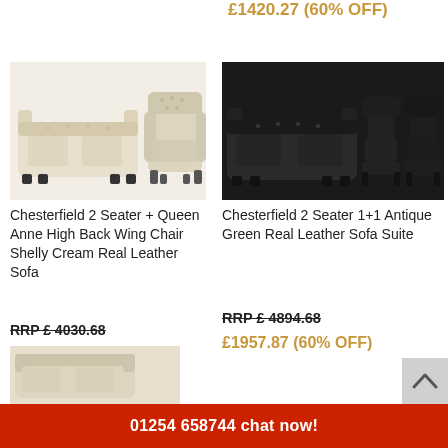£1420.27 (60% OFF)
[Figure (photo): Chesterfield 2 seater cream sofa with Queen Anne high back wing chair in cream/shelly leather]
Chesterfield 2 Seater + Queen Anne High Back Wing Chair Shelly Cream Real Leather Sofa
RRP £4030.68
£1612.27 (60% OFF)
[Figure (photo): Chesterfield 2 seater antique green with two matching armchairs in dark leather sofa suite]
Chesterfield 2 Seater 1+1 Antique Green Real Leather Sofa Suite
RRP £4894.68
£1957.87 (60% OFF)
01254 658744 chat now!